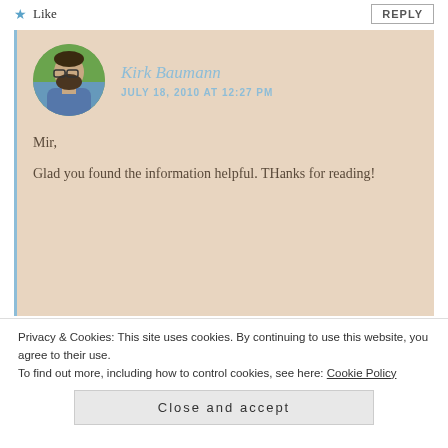★ Like
REPLY
Kirk Baumann
JULY 18, 2010 AT 12:27 PM
Mir,

Glad you found the information helpful. THanks for reading!
Privacy & Cookies: This site uses cookies. By continuing to use this website, you agree to their use.
To find out more, including how to control cookies, see here: Cookie Policy
Close and accept